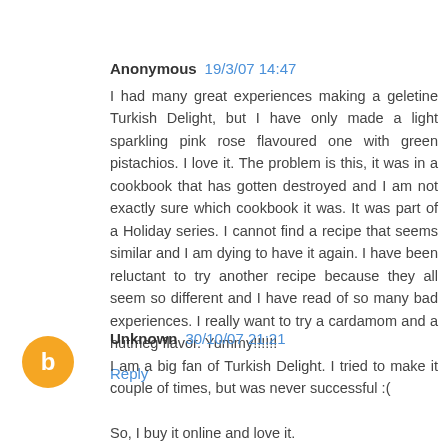Anonymous 19/3/07 14:47
I had many great experiences making a geletine Turkish Delight, but I have only made a light sparkling pink rose flavoured one with green pistachios. I love it. The problem is this, it was in a cookbook that has gotten destroyed and I am not exactly sure which cookbook it was. It was part of a Holiday series. I cannot find a recipe that seems similar and I am dying to have it again. I have been reluctant to try another recipe because they all seem so different and I have read of so many bad experiences. I really want to try a cardamom and a nutmeg flavor. Yummy!!!!!!
Reply
Unknown 30/10/07 21:21
I am a big fan of Turkish Delight. I tried to make it couple of times, but was never successful :(
So, I buy it online and love it.